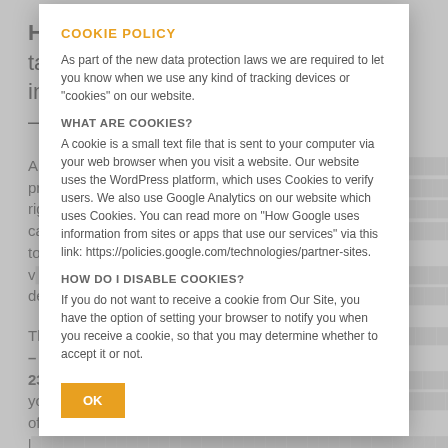Heads workshop which specifically targets the unique needs of another important group in the AISA community – our very small schools.
AIS... (PLI) pro... ace rig... can... ou to v... L des...
The... h – 23r... so you... me of l... ne of A... Dak...
COOKIE POLICY
As part of the new data protection laws we are required to let you know when we use any kind of tracking devices or "cookies" on our website.
WHAT ARE COOKIES?
A cookie is a small text file that is sent to your computer via your web browser when you visit a website. Our website uses the WordPress platform, which uses Cookies to verify users. We also use Google Analytics on our website which uses Cookies. You can read more on "How Google uses information from sites or apps that use our services" via this link: https://policies.google.com/technologies/partner-sites.
HOW DO I DISABLE COOKIES?
If you do not want to receive a cookie from Our Site, you have the option of setting your browser to notify you when you receive a cookie, so that you may determine whether to accept it or not.
OK
Just a reminder that there is NO AISA LEADERSHIP...